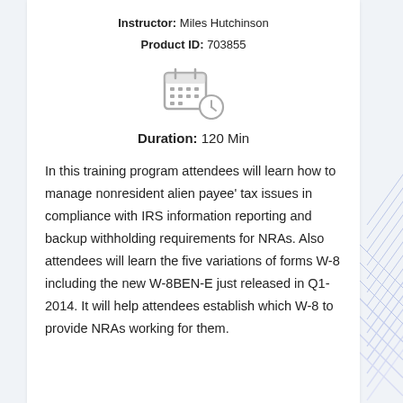Instructor: Miles Hutchinson
Product ID: 703855
[Figure (illustration): Calendar with clock icon (schedule/duration icon)]
Duration: 120 Min
In this training program attendees will learn how to manage nonresident alien payee' tax issues in compliance with IRS information reporting and backup withholding requirements for NRAs. Also attendees will learn the five variations of forms W-8 including the new W-8BEN-E just released in Q1-2014. It will help attendees establish which W-8 to provide NRAs working for them.